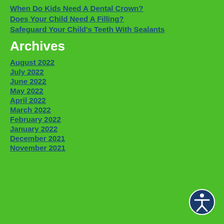When Do Kids Need A Dental Crown?
Does Your Child Need A Filling?
Safeguard Your Child's Teeth With Sealants
Archives
August 2022
July 2022
June 2022
May 2022
April 2022
March 2022
February 2022
January 2022
December 2021
November 2021